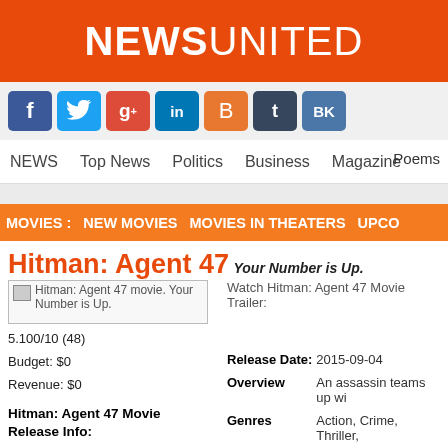NEWSUNITED
[Figure (other): Social media icons: Facebook, Twitter, Google+, LinkedIn, Blogger, Tumblr, VK]
NEWS  Top News  Politics  Business  Magazine  Poems
MOVIES :  NEW MOVIES  MOVIES IN THEATERS  UPCO...
Hitman: Agent 47
Your Number is Up.
Hitman: Agent 47 movie. Your Number is Up.
5.100/10 (48)
Budget: $0
Revenue: $0
Watch Hitman: Agent 47 Movie Trailer:
Hitman: Agent 47 Movie Release Info:
AE  2015-08-27
AR  2015-09-03
AT  2015-08-28
| Release Date: | 2015-09-04 |
| --- | --- |
| Overview | An assassin teams up wi... |
| Genres | Action, Crime, Thriller, |
| Duration | 0 min. |
Duration   0 min.